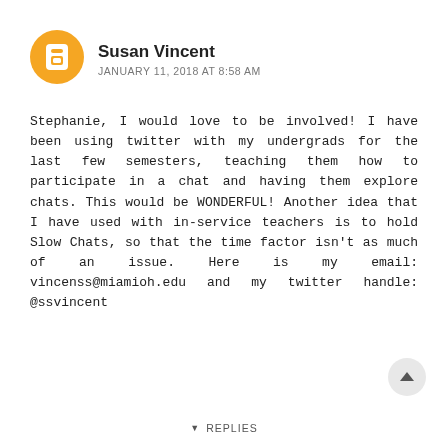[Figure (logo): Orange circular Blogger avatar icon with white 'B' letter]
Susan Vincent
JANUARY 11, 2018 AT 8:58 AM
Stephanie, I would love to be involved! I have been using twitter with my undergrads for the last few semesters, teaching them how to participate in a chat and having them explore chats. This would be WONDERFUL! Another idea that I have used with in-service teachers is to hold Slow Chats, so that the time factor isn't as much of an issue. Here is my email: vincenss@miamioh.edu and my twitter handle: @ssvincent
REPLY
▼ REPLIES